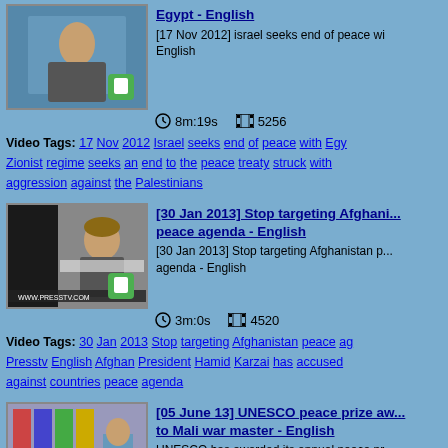[Figure (screenshot): Thumbnail of news video showing a man in suit against world map background with green checkmark phone icon]
[17 Nov 2012] israel seeks end of peace wi... English
[17 Nov 2012] israel seeks end of peace wi... English
8m:19s  5256
Video Tags: 17 Nov 2012 Israel seeks end of peace with Egy... Zionist regime seeks an end to the peace treaty struck with ... aggression against the Palestinians
[Figure (screenshot): Thumbnail of news video showing Hamid Karzai speaking with Afghan flag, WWW.PRESSTV.COM watermark]
[30 Jan 2013] Stop targeting Afghani... peace agenda - English
[30 Jan 2013] Stop targeting Afghanistan p... agenda - English
3m:0s  4520
Video Tags: 30 Jan 2013 Stop targeting Afghanistan peace ag... Presstv English Afghan President Hamid Karzai has accused ... against countries peace agenda
[Figure (screenshot): Thumbnail of news video showing a man in suit at podium with colorful flags behind]
[05 June 13] UNESCO peace prize aw... to Mali war master - English
UNESCO has awarded its annual peace pr... French President Francois Hollande, follow... decision to intervene in Mali with a UN...